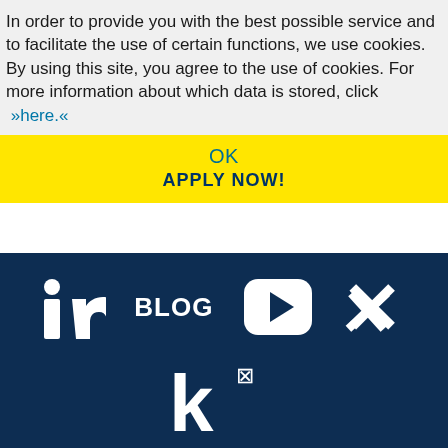In order to provide you with the best possible service and to facilitate the use of certain functions, we use cookies. By using this site, you agree to the use of cookies. For more information about which data is stored, click »here.«
OK
APPLY NOW!
[Figure (logo): Footer with social media icons: LinkedIn (in), BLOG text, YouTube play button icon, Xing icon, and a stylized k with superscript icon]
Privacy Notice    Imprint